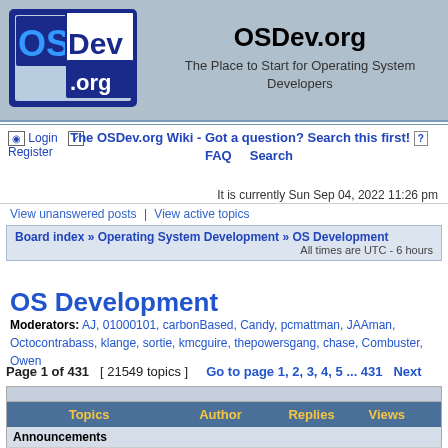[Figure (logo): OSDev.org logo with blue OS text, Dev in dark blue, .org below]
OSDev.org
The Place to Start for Operating System Developers
Login  Register  The OSDev.org Wiki - Got a question? Search this first!  FAQ  Search
It is currently Sun Sep 04, 2022 11:26 pm
View unanswered posts | View active topics
Board index » Operating System Development » OS Development  All times are UTC - 6 hours
OS Development
Moderators: AJ, 01000101, carbonBased, Candy, pcmattman, JAAman, Octocontrabass, klange, sortie, kmcguire, thepowersgang, chase, Combuster, Owen
Page 1 of 431  [ 21549 topics ]  Go to page 1, 2, 3, 4, 5 ... 431  Next
| Topics | Author | Replies | Views |  |
| --- | --- | --- | --- | --- |
| Announcements |  |  |  |  |
| OSDev Wiki Relicensing |  |  |  | Fri… |